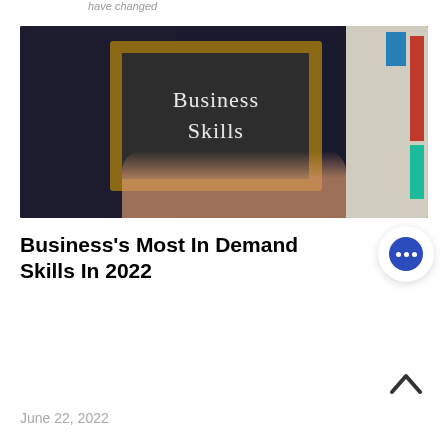have changed
[Figure (photo): Person in dark sweater holding a chalkboard sign that reads 'Business Skills' in chalk lettering, with bookshelves visible in background]
Business's Most In Demand Skills In 2022
June 22, 2022